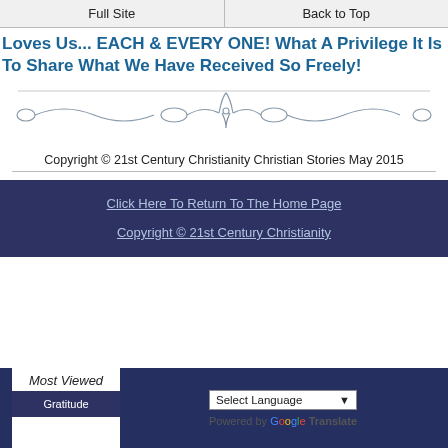Full Site | Back to Top
Loves Us... EACH & EVERY ONE! What A Privilege It Is To Share What We Have Received So Freely!
[Figure (illustration): Decorative ornamental divider with scrollwork and a central motif]
Copyright © 21st Century Christianity Christian Stories May 2015
Click Here To Return To The Home Page
Copyright © 21st Century Christianity
Most Viewed | Gratitude | Select Language | Powered by Google Translate